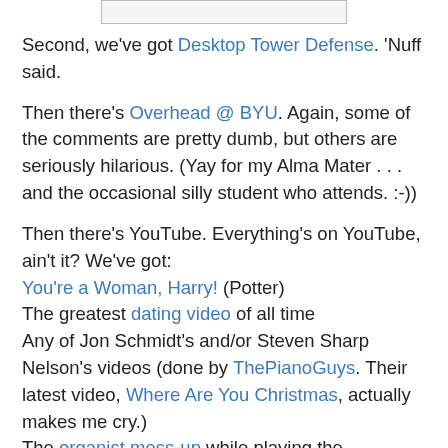[Figure (other): Small bordered image placeholder at top of page]
Second, we've got Desktop Tower Defense. 'Nuff said.
Then there's Overhead @ BYU. Again, some of the comments are pretty dumb, but others are seriously hilarious. (Yay for my Alma Mater . . . and the occasional silly student who attends. :-))
Then there's YouTube. Everything's on YouTube, ain't it? We've got:
You're a Woman, Harry! (Potter)
The greatest dating video of all time
Any of Jon Schmidt's and/or Steven Sharp Nelson's videos (done by ThePianoGuys. Their latest video, Where Are You Christmas, actually makes me cry.)
The organist mess-up while playing the Hallelujah Chorus.
I also love looking at all the pictures my brother, Glenn, has taken, though I don't want to call it a Time Waster. :-) His pictures of LDS temples are absolutely breathtaking.
Last but not least, there's Travelocity. Because it's fun to